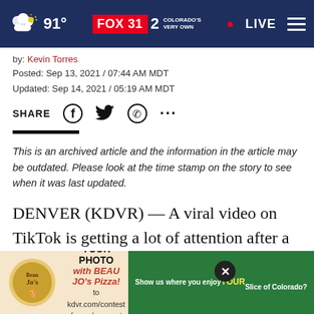FOX 31 2 COLORADO'S VERY OWN  91°  ● LIVE  ☰
by: Kevin Torres
Posted: Sep 13, 2021 / 07:44 AM MDT
Updated: Sep 14, 2021 / 05:19 AM MDT
SHARE  [Facebook] [Twitter] [WhatsApp] [...]
This is an archived article and the information in the article may be outdated. Please look at the time stamp on the story to see when it was last updated.
DENVER (KDVR) — A viral video on TikTok is getting a lot of attention after a cyber security expert showed viewers how easy it is for Airbnb hosts and hotels to hide surveillance cameras in their property without you, t…
[Figure (other): Beau Jo's Pizza advertisement banner with logo, SUBMIT YOUR PHOTO text, contest details for kdvr.com/contest for $100 gift card, and green Show us where you enjoy YOUR Slice of Colorado button. Includes a close X button.]